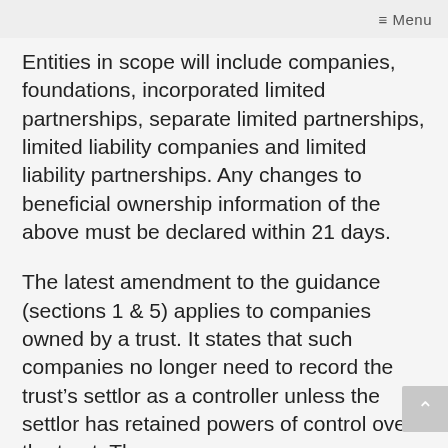≡ Menu
Entities in scope will include companies, foundations, incorporated limited partnerships, separate limited partnerships, limited liability companies and limited liability partnerships. Any changes to beneficial ownership information of the above must be declared within 21 days.
The latest amendment to the guidance (sections 1 & 5) applies to companies owned by a trust. It states that such companies no longer need to record the trust's settlor as a controller unless the settlor has retained powers of control over the trust. These